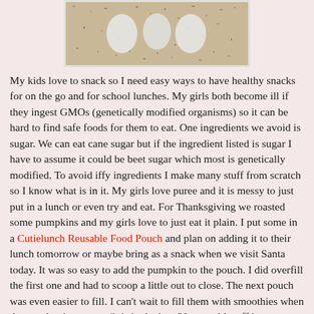[Figure (photo): Photo of product items on a granite countertop surface]
My kids love to snack so I need easy ways to have healthy snacks for on the go and for school lunches.  My girls both become ill if they ingest GMOs (genetically modified organisms) so it can be hard to find safe foods for them to eat.  One ingredients we avoid is sugar.  We can eat cane sugar but if the ingredient listed is sugar I have to assume it could be beet sugar which most is genetically modified.  To avoid iffy ingredients I make many stuff from scratch so I know what is in it.  My girls love puree and it is messy to just put in a lunch or even try and eat.  For Thanksgiving we roasted some pumpkins and my girls love to just eat it plain.  I put some in a Cutielunch Reusable Food Pouch and plan on adding it to their lunch tomorrow or maybe bring as a snack when we visit Santa today.  It was so easy to add the pumpkin to the pouch.  I did overfill the first one and had to scoop a little out to close.  The next pouch was even easier to fill.  I can't wait to fill them with smoothies when the weather is warmer (it is in the low 30s so cold stuff is not on the menu right now).  I could fill them with smoothies and keep in the freezer until right before school or heading out.